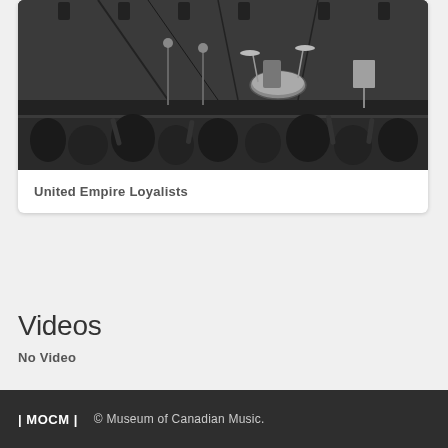[Figure (photo): Black and white photograph of a concert stage with musicians performing, drums visible, crowd in foreground with raised arms]
United Empire Loyalists
Videos
No Video
| MOCM |   © Museum of Canadian Music.